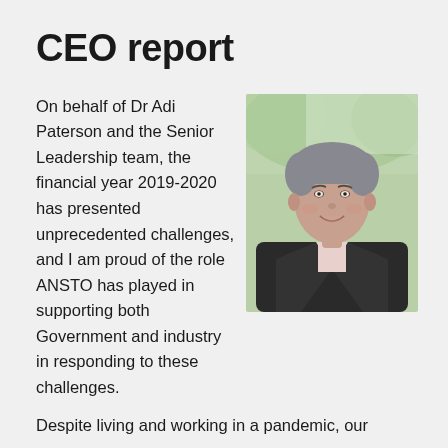CEO report
On behalf of Dr Adi Paterson and the Senior Leadership team, the financial year 2019-2020 has presented unprecedented challenges, and I am proud of the role ANSTO has played in supporting both Government and industry in responding to these challenges.
[Figure (photo): Portrait photo of a smiling middle-aged man with grey hair wearing a dark suit jacket and light pink shirt, with a blurred outdoor background with green foliage.]
Despite living and working in a pandemic, our